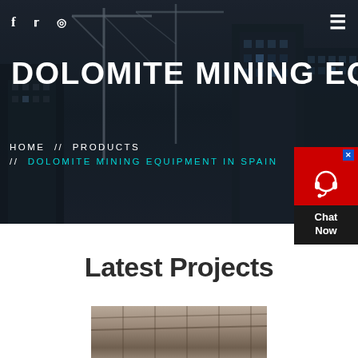[Figure (photo): Hero background image of a construction site with cranes and tall buildings under a dark blue-grey sky]
f  twitter  dribbble  ≡
DOLOMITE MINING EQUIPMENT
HOME // PRODUCTS // DOLOMITE MINING EQUIPMENT IN SPAIN
[Figure (illustration): Chat widget: red background with headset icon, Chat Now button in dark background]
Latest Projects
[Figure (photo): Industrial/construction project photo showing large indoor structure with scaffolding and workers]